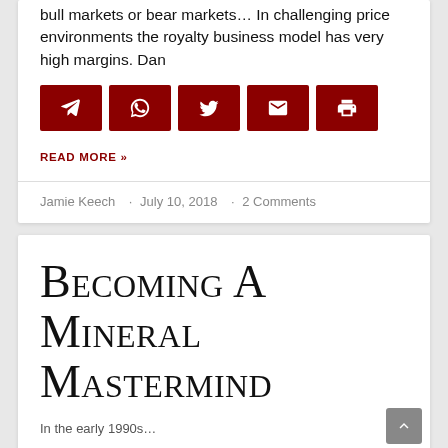bull markets or bear markets… In challenging price environments the royalty business model has very high margins. Dan
[Figure (infographic): Row of five dark red social share buttons: Telegram, WhatsApp, Twitter, Email, Print]
READ MORE »
Jamie Keech · July 10, 2018 · 2 Comments
Becoming A Mineral Mastermind
In the early 1990s…